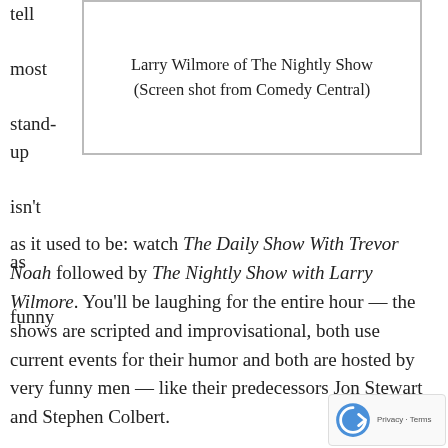tell most stand-up isn't as funny
[Figure (other): Larry Wilmore of The Nightly Show - screenshot placeholder with border]
Larry Wilmore of The Nightly Show (Screen shot from Comedy Central)
as it used to be: watch The Daily Show With Trevor Noah followed by The Nightly Show with Larry Wilmore. You'll be laughing for the entire hour — the shows are scripted and improvisational, both use current events for their humor and both are hosted by very funny men — like their predecessors Jon Stewart and Stephen Colbert.
Ah, the Daily Show with Jon Stewart and The Colbert Report. Those were the salad days of late